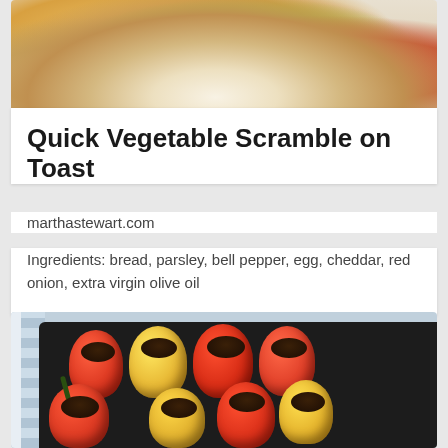[Figure (photo): Top portion of a food photo showing a scrambled egg and vegetable toast dish on a white plate, partially cropped]
Quick Vegetable Scramble on Toast
marthastewart.com
Ingredients: bread, parsley, bell pepper, egg, cheddar, red onion, extra virgin olive oil
[Figure (photo): Photo of colorful stuffed bell peppers (red and yellow) filled with a dark bean and grain mixture, arranged on a dark baking tray, with a striped cloth visible on the left side]